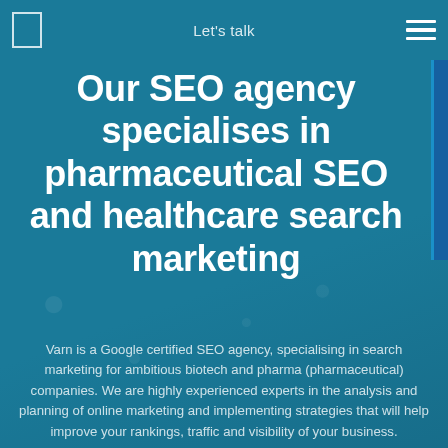Let's talk
Our SEO agency specialises in pharmaceutical SEO and healthcare search marketing
Varn is a Google certified SEO agency, specialising in search marketing for ambitious biotech and pharma (pharmaceutical) companies. We are highly experienced experts in the analysis and planning of online marketing and implementing strategies that will help improve your rankings, traffic and visibility of your business.